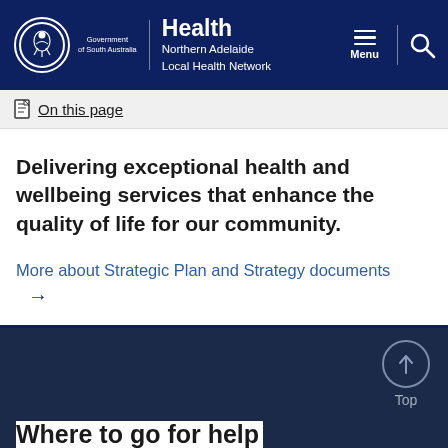Health Northern Adelaide Local Health Network — Government of South Australia
On this page
Delivering exceptional health and wellbeing services that enhance the quality of life for our community.
More about Strategic Plan and Strategy documents →
Top | Where to go for help